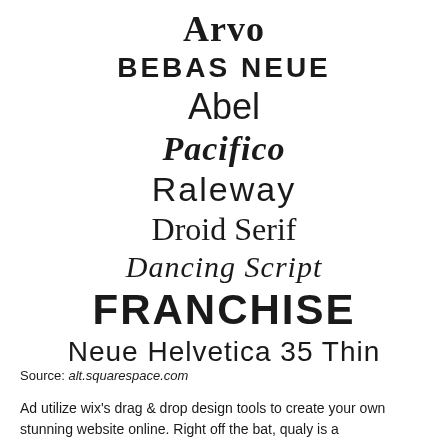[Figure (illustration): A showcase of multiple font names displayed in their respective typeface styles, stacked vertically and centered: Arvo (bold serif), BEBAS NEUE (bold condensed uppercase), Abel (thin sans-serif), Pacifico (bold italic script), Raleway (light sans-serif), Droid Serif (regular serif), Dancing Script (light italic script), FRANCHISE (heavy uppercase), Neue Helvetica 35 Thin (thin sans-serif)]
Source: alt.squarespace.com
Ad utilize wix's drag & drop design tools to create your own stunning website online. Right off the bat, qualy is a